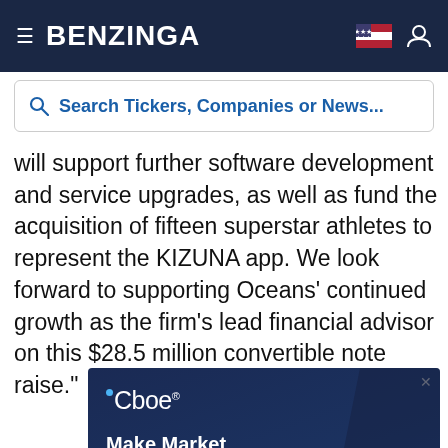BENZINGA
Search Tickers, Companies or News...
will support further software development and service upgrades, as well as fund the acquisition of fifteen superstar athletes to represent the KIZUNA app. We look forward to supporting Oceans' continued growth as the firm's lead financial advisor on this $28.5 million convertible note raise."
[Figure (screenshot): Cboe advertisement: Make Market Volatility Work for You. Trade or hedge equity market volatility with Cboe® Mini VIX® Futures. Shows Cboe logo and a coffee mug graphic.]